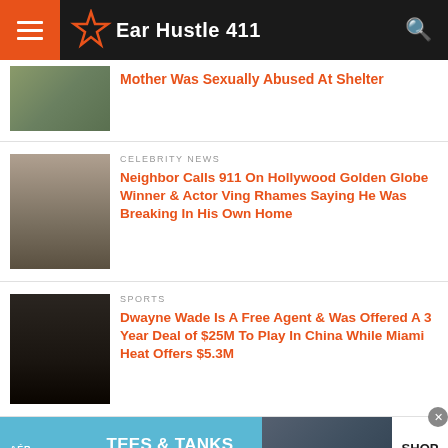Ear Hustle 411
Mother Was Sexually Abused At Shelter
CELEBRITY NEWS
Neighbor Calls 911 On Hollywood Golden Globe Winner & Actor Ving Rhames Saying He Was Breaking In His Own Home
SPORTS
Dwayne Wade Is A Free Agent & Was Offered A 3 Year Deal of $25M To Play In China While Miami Heat Offers $5.3M
[Figure (advertisement): Aeropostale ad: TEES & TANKS $6.87 & UP, SHOP NOW]